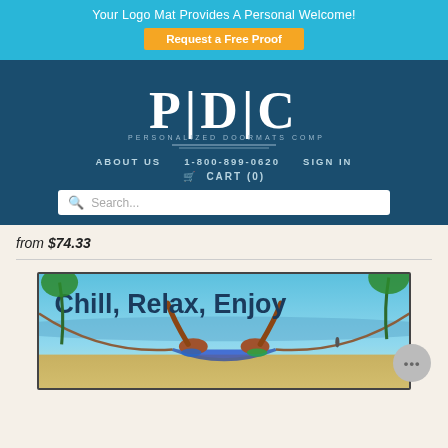Your Logo Mat Provides A Personal Welcome!
Request a Free Proof
[Figure (logo): PDC - The Personalized Doormats Company logo in white on dark teal background]
ABOUT US   1-800-899-0620   SIGN IN
CART (0)
Search...
from $74.33
[Figure (photo): Beach/hammock scene with text overlay 'Chill, Relax, Enjoy' and hands raised, tropical beach background]